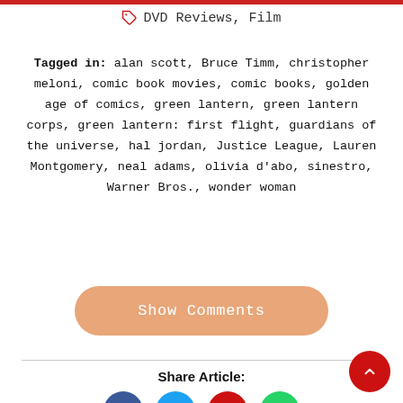DVD Reviews, Film
Tagged in: alan scott, Bruce Timm, christopher meloni, comic book movies, comic books, golden age of comics, green lantern, green lantern corps, green lantern: first flight, guardians of the universe, hal jordan, Justice League, Lauren Montgomery, neal adams, olivia d'abo, sinestro, Warner Bros., wonder woman
Show Comments
Share Article: